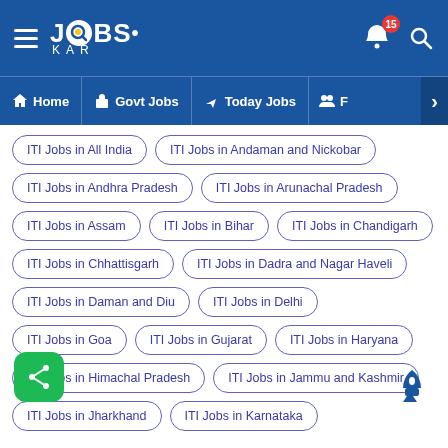JOBSKAR — Home | Govt Jobs | Today Jobs
ITI Jobs in All India
ITI Jobs in Andaman and Nickobar
ITI Jobs in Andhra Pradesh
ITI Jobs in Arunachal Pradesh
ITI Jobs in Assam
ITI Jobs in Bihar
ITI Jobs in Chandigarh
ITI Jobs in Chhattisgarh
ITI Jobs in Dadra and Nagar Haveli
ITI Jobs in Daman and Diu
ITI Jobs in Delhi
ITI Jobs in Goa
ITI Jobs in Gujarat
ITI Jobs in Haryana
ITI Jobs in Himachal Pradesh
ITI Jobs in Jammu and Kashmir
ITI Jobs in Jharkhand
ITI Jobs in Karnataka